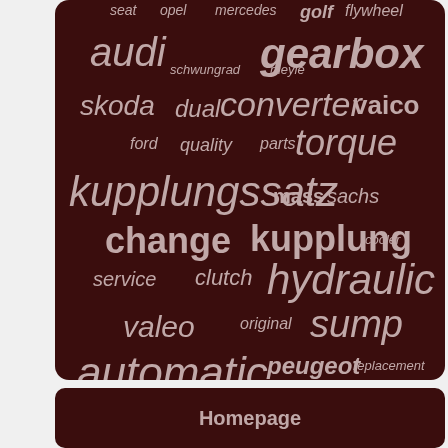[Figure (infographic): Word cloud on dark brown background with automotive/parts related terms including: seat, opel, mercedes, golf, flywheel, audi, schwungrad, meyle, gearbox, skoda, dual, converter, vaico, ford, quality, parts, torque, kupplungssatz, mass, sachs, change, kupplung, cooler, service, clutch, hydraulic, valeo, original, sump, automatic, peugeot, replacement, transmission, filter, repset]
Homepage